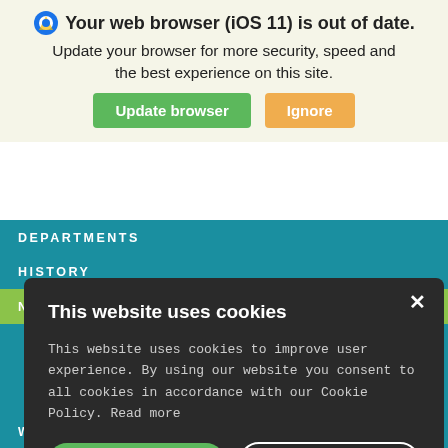Your web browser (iOS 11) is out of date. Update your browser for more security, speed and the best experience on this site.
[Figure (screenshot): Browser update banner with Update browser (green) and Ignore (orange) buttons]
DEPARTMENTS
HISTORY
NONDISCRIMINATION POLICY
[Figure (screenshot): Cookie consent modal dialog on dark background with title 'This website uses cookies', body text, ACCEPT ALL and DECLINE ALL buttons]
SERVICE
WATER COMMISSION MEETING INFORMATION